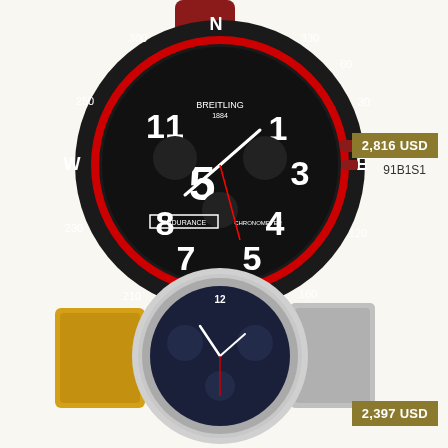[Figure (photo): Breitling Endurance chronometer watch with black case, red rubber strap, compass bezel markings (N, S, E, W), white large Arabic numerals, ENDURANCE and CHRONOMETER text on dial]
2,816 USD
91B1S1
[Figure (photo): Breitling watch with silver steel bracelet and yellow leather strap, dark blue dial with chronograph subdials]
2,397 USD